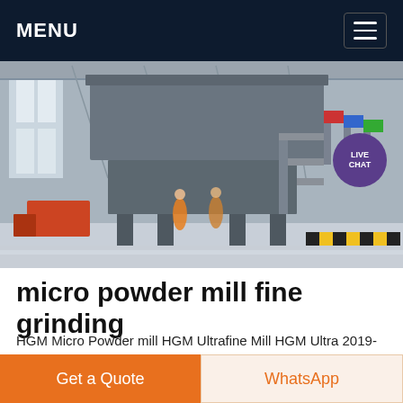MENU
[Figure (photo): Industrial grinding mill machinery inside a large factory hall. Large grey metal mill structure with staircases, flags, and equipment visible in the background. LIVE CHAT badge overlaid in top right corner.]
micro powder mill fine grinding
HGM Micro Powder mill HGM Ultrafine Mill HGM Ultra 2019-11-26 HGM Micro-powder Grinding Mill [ Capacity ]: 0 2-10 t/h [ Applicable Material ]: HGM series of three-rings and medium-speed micro powder grinder is a new type of
Get a Quote
WhatsApp